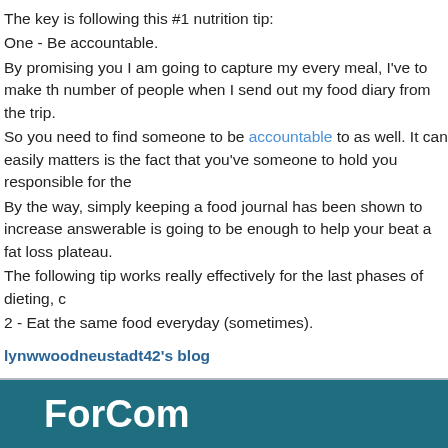The key is following this #1 nutrition tip:
One - Be accountable.
By promising you I am going to capture my every meal, I've to make th number of people when I send out my food diary from the trip.
So you need to find someone to be accountable to as well. It can easily matters is the fact that you've someone to hold you responsible for the
By the way, simply keeping a food journal has been shown to increase answerable is going to be enough to help your beat a fat loss plateau.
The following tip works really effectively for the last phases of dieting, c
2 - Eat the same food everyday (sometimes).
lynwwoodneustadt42's blog
ForCom